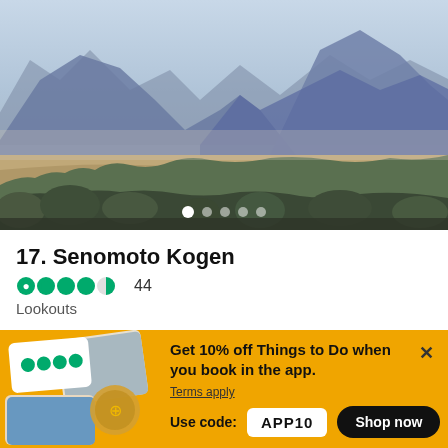[Figure (photo): Panoramic mountain landscape with volcanic peaks, a wide valley plain, sparse trees and shrubs in the foreground, taken at Senomoto Kogen lookout in Japan.]
17. Senomoto Kogen
44
Lookouts
Get 10% off Things to Do when you book in the app.
Terms apply
Use code: APP10
Shop now